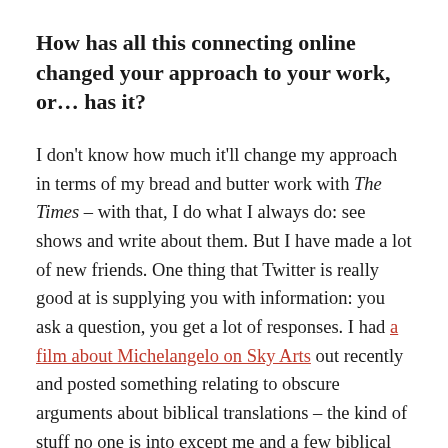How has all this connecting online changed your approach to your work, or… has it?
I don't know how much it'll change my approach in terms of my bread and butter work with The Times – with that, I do what I always do: see shows and write about them. But I have made a lot of new friends. One thing that Twitter is really good at is supplying you with information: you ask a question, you get a lot of responses. I had a film about Michelangelo on Sky Arts out recently and posted something relating to obscure arguments about biblical translations – the kind of stuff no one is into except me and a few biblical scholars, or so I thought! – and got so many responses from so many people. It was such fantastic information! You